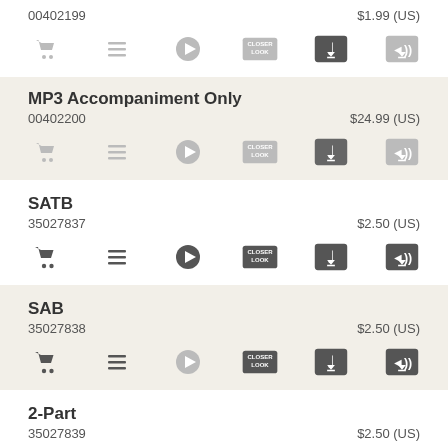00402199   $1.99 (US)
[Figure (infographic): Row of action icons: cart, list, play, closer look, music download (active), audio download (inactive)]
MP3 Accompaniment Only
00402200   $24.99 (US)
[Figure (infographic): Row of action icons: cart, list, play, closer look, music download, audio download]
SATB
35027837   $2.50 (US)
[Figure (infographic): Row of action icons: cart (dark), list (dark), play (dark), closer look (dark), music download (dark), audio download (dark)]
SAB
35027838   $2.50 (US)
[Figure (infographic): Row of action icons: cart, list, play (light), closer look, music download, audio download]
2-Part
35027839   $2.50 (US)